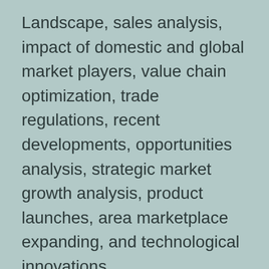Landscape, sales analysis, impact of domestic and global market players, value chain optimization, trade regulations, recent developments, opportunities analysis, strategic market growth analysis, product launches, area marketplace expanding, and technological innovations.
Global key manufacturers of Deck Integrated Fire Fighting (DIFFS) System include Matre Maskin AS, Helitecnica, Navutec Co.,Ltd, Firenor, and